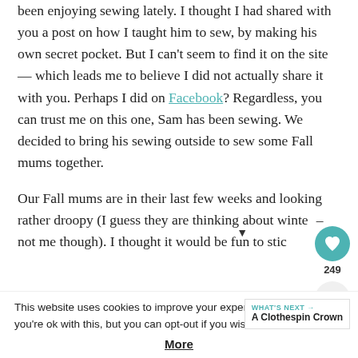been enjoying sewing lately.  I thought I had shared with you a post on how I taught him to sew, by making his own secret pocket.  But I can't seem to find it on the site — which leads me to believe I did not actually share it with you.  Perhaps I did on Facebook? Regardless, you can trust me on this one, Sam has been sewing.  We decided to bring his sewing outside to sew some Fall mums together.

Our Fall mums are in their last few weeks and looking rather droopy (I guess they are thinking about winter – not me though).  I thought it would be fun to stic
This website uses cookies to improve your experience. We'll assume you're ok with this, but you can opt-out if you wish.
More
WHAT'S NEXT → A Clothespin Crown